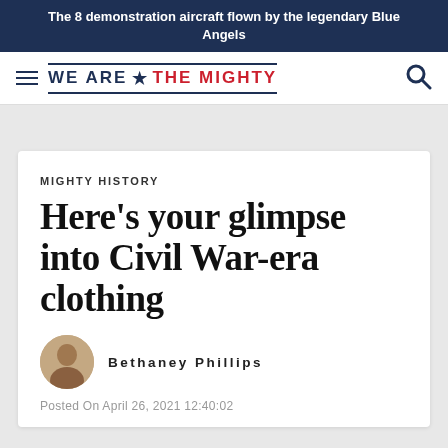The 8 demonstration aircraft flown by the legendary Blue Angels
[Figure (logo): We Are The Mighty website logo with hamburger menu and search icon]
MIGHTY HISTORY
Here’s your glimpse into Civil War-era clothing
Bethaney Phillips
Posted On April 26, 2021 12:40:02